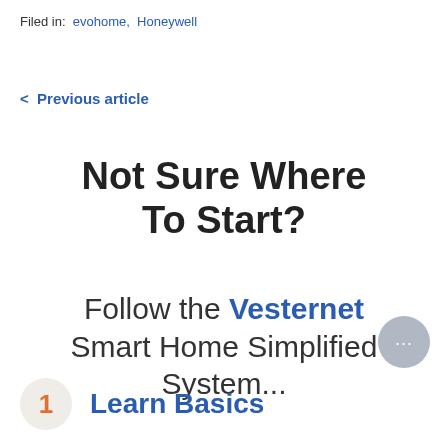Filed in: evohome, Honeywell
< Previous article
Not Sure Where To Start?
Follow the Vesternet Smart Home Simplified System...
1  Learn Basics